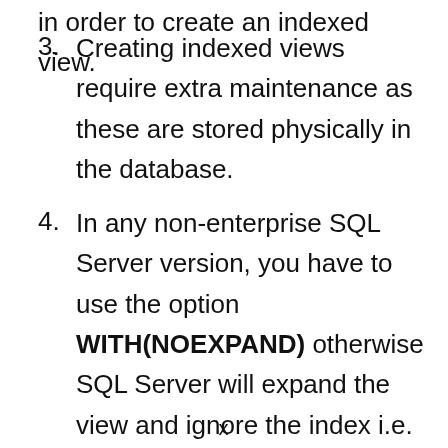Creating indexed views require extra maintenance as these are stored physically in the database.
In any non-enterprise SQL Server version, you have to use the option WITH(NOEXPAND) otherwise SQL Server will expand the view and ignore the index i.e. it will behave as a standard view.
x